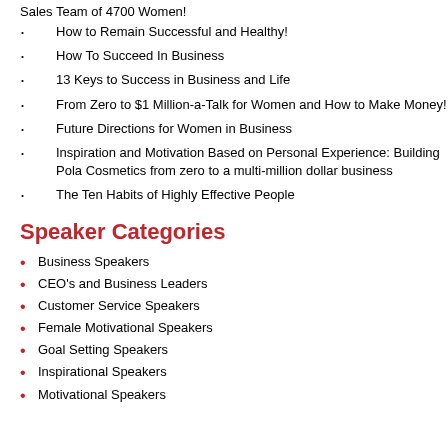Sales Team of 4700 Women!
How to Remain Successful and Healthy!
How To Succeed In Business
13 Keys to Success in Business and Life
From Zero to $1 Million-a-Talk for Women and How to Make Money!
Future Directions for Women in Business
Inspiration and Motivation Based on Personal Experience: Building Pola Cosmetics from zero to a multi-million dollar business
The Ten Habits of Highly Effective People
Speaker Categories
Business Speakers
CEO's and Business Leaders
Customer Service Speakers
Female Motivational Speakers
Goal Setting Speakers
Inspirational Speakers
Motivational Speakers